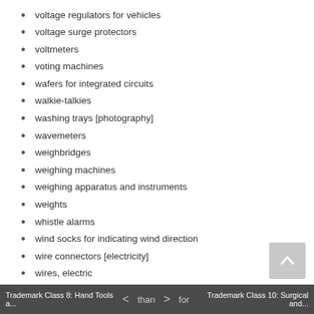voltage regulators for vehicles
voltage surge protectors
voltmeters
voting machines
wafers for integrated circuits
walkie-talkies
washing trays [photography]
wavemeters
weighbridges
weighing machines
weighing apparatus and instruments
weights
whistle alarms
wind socks for indicating wind direction
wire connectors [electricity]
wires, electric
workmen's protective face-shields
wrist rests for use with computers
X-ray tubes not for medical purposes
X-ray apparatus not for medical purposes
X-ray films, exposed
X-ray photographs not for medical purposes
Trademark Class 8: Hand Tools a... < > for ... Trademark Class 10: Surgical and...